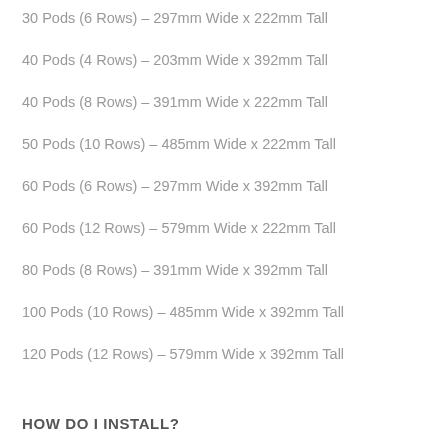30 Pods (6 Rows) – 297mm Wide x 222mm Tall
40 Pods (4 Rows) – 203mm Wide x 392mm Tall
40 Pods (8 Rows) – 391mm Wide x 222mm Tall
50 Pods (10 Rows) – 485mm Wide x 222mm Tall
60 Pods (6 Rows) – 297mm Wide x 392mm Tall
60 Pods (12 Rows) – 579mm Wide x 222mm Tall
80 Pods (8 Rows) – 391mm Wide x 392mm Tall
100 Pods (10 Rows) – 485mm Wide x 392mm Tall
120 Pods (12 Rows) – 579mm Wide x 392mm Tall
HOW DO I INSTALL?